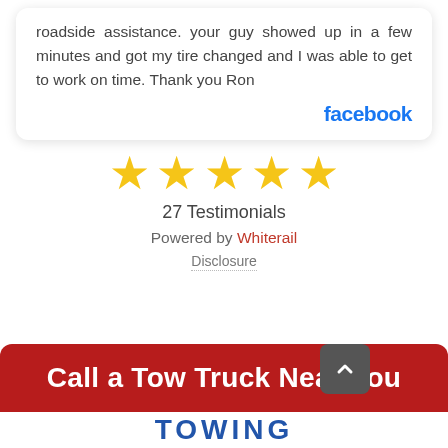roadside assistance. your guy showed up in a few minutes and got my tire changed and I was able to get to work on time. Thank you Ron
[Figure (logo): Facebook logo text in blue bold font]
[Figure (infographic): Five yellow star rating icons in a row]
27 Testimonials
Powered by Whiterail
Disclosure
Call a Tow Truck Near You
[Figure (logo): Towing company logo text partially visible at bottom]